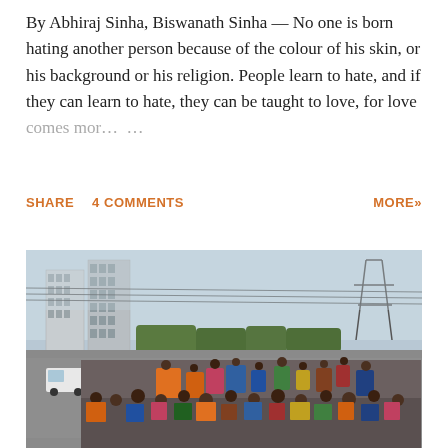By Abhiraj Sinha, Biswanath Sinha — No one is born hating another person because of the colour of his skin, or his background or his religion. People learn to hate, and if they can learn to hate, they can be taught to love, for love comes more ...
SHARE   4 COMMENTS   MORE»
[Figure (photo): A large crowd of people walking on a road or highway, with multi-story buildings, power lines, and a hazy sky in the background. The scene appears to be a mass gathering or migration in an urban Indian setting.]